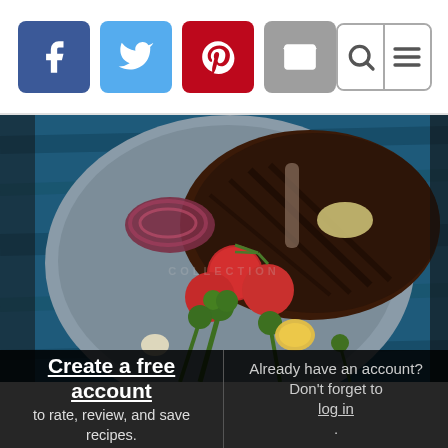[Figure (screenshot): Social media share buttons: Facebook (blue), Twitter (light blue), Pinterest (red), Email (grey), plus search and hamburger menu icons on the right]
[Figure (photo): Overhead photo of a grilled steak with grill marks and herb butter on a grey plate, surrounded by cherry tomatoes on vine, grilled red onion, broccolini, and lemon, on a blue wood background]
Create a free account to rate, review, and save recipes.
Already have an account? Don't forget to log in.